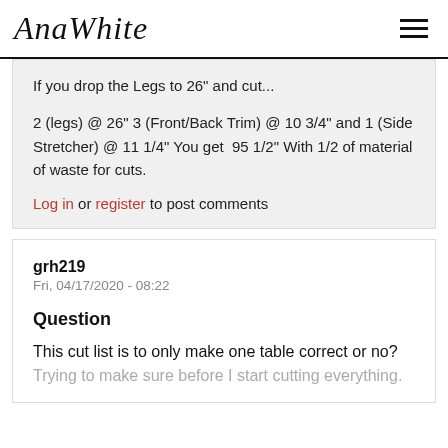AnaWhite
If you drop the Legs to 26" and cut...

2 (legs) @ 26" 3 (Front/Back Trim) @ 10 3/4" and 1 (Side Stretcher) @ 11 1/4" You get  95 1/2" With 1/2 of material of waste for cuts.
Log in or register to post comments
grh219
Fri, 04/17/2020 - 08:22
Question
This cut list is to only make one table correct or no? Trying to make sure before I start cutting everything.